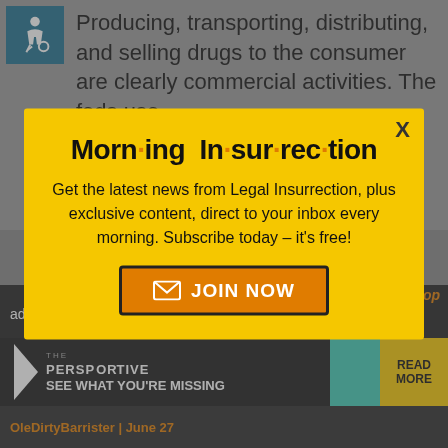Producing, transporting, distributing, and selling drugs to the consumer are clearly commercial activities. The feds use
[Figure (screenshot): Morning Insurrection newsletter signup modal popup with yellow background. Title reads 'Morn·ing In·sur·rec·tion' with orange dots. Body text: 'Get the latest news from Legal Insurrection, plus exclusive content, direct to your inbox every morning. Subscribe today – it's free!' with an orange JOIN NOW button.]
administer th actual fights.
[Figure (screenshot): The Perspective advertisement banner: 'SEE WHAT YOU'RE MISSING' with READ MORE button]